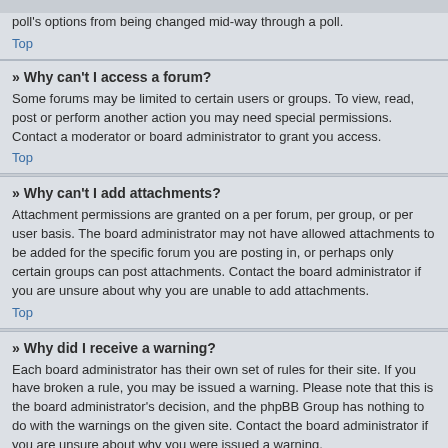poll's options from being changed mid-way through a poll.
Top
» Why can't I access a forum?
Some forums may be limited to certain users or groups. To view, read, post or perform another action you may need special permissions. Contact a moderator or board administrator to grant you access.
Top
» Why can't I add attachments?
Attachment permissions are granted on a per forum, per group, or per user basis. The board administrator may not have allowed attachments to be added for the specific forum you are posting in, or perhaps only certain groups can post attachments. Contact the board administrator if you are unsure about why you are unable to add attachments.
Top
» Why did I receive a warning?
Each board administrator has their own set of rules for their site. If you have broken a rule, you may be issued a warning. Please note that this is the board administrator's decision, and the phpBB Group has nothing to do with the warnings on the given site. Contact the board administrator if you are unsure about why you were issued a warning.
Top